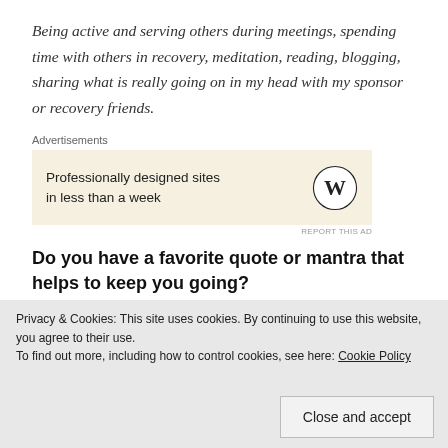Being active and serving others during meetings, spending time with others in recovery, meditation, reading, blogging, sharing what is really going on in my head with my sponsor or recovery friends.
[Figure (other): WordPress advertisement banner: 'Professionally designed sites in less than a week' with WordPress logo. Includes 'REPORT THIS AD' link.]
Do you have a favorite quote or mantra that helps to keep you going?
Keep coming back, it works if you work it and YOU are worth it.
Privacy & Cookies: This site uses cookies. By continuing to use this website, you agree to their use.
To find out more, including how to control cookies, see here: Cookie Policy